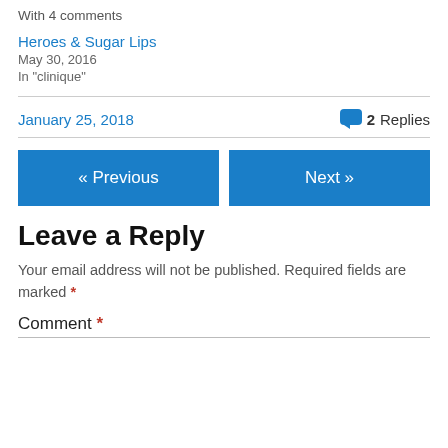With 4 comments
Heroes & Sugar Lips
May 30, 2016
In "clinique"
January 25, 2018   2 Replies
« Previous
Next »
Leave a Reply
Your email address will not be published. Required fields are marked *
Comment *